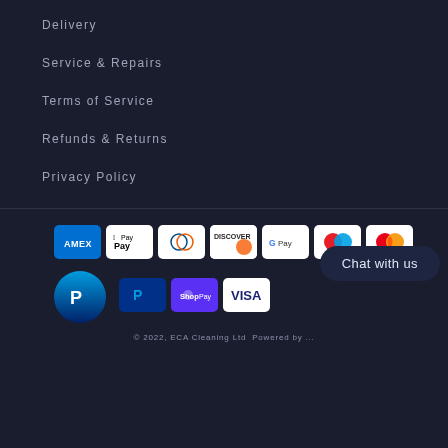Delivery
Service & Repairs
Terms of Service
Refunds & Returns
Privacy Policy
[Figure (infographic): Payment method icons: American Express, Apple Pay, Diners Club, Discover, Google Pay, Maestro, Mastercard in first row; PayPal, Shop Pay, Visa in second row; PayPal circle logo on left; Chat with us bubble on right]
© 2022, ECA Cleaning Ltd Powered by ...